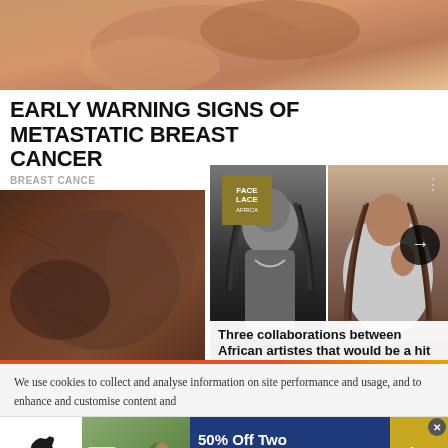[Figure (photo): Close-up photo of a person's hands/shoulder area with warm brown tones]
EARLY WARNING SIGNS OF METASTATIC BREAST CANCER
BREAST CANCER
[Figure (photo): Music overlay card with two photos side by side: a black-and-white photo of a male artist with dreadlocks and jewelry, and a color photo of another artist with dreadlocks wearing a grey hoodie. Face Lace Africa logo badge visible. Arrow navigation button.]
Three collaborations between African artistes that would be a hit
[Figure (photo): Close-up photo of dark skin texture]
We use cookies to collect and analyse information on site performance and usage, and to enhance and customise content and advertising content. By Clicking 'Accept' or clicking into any content on
[Figure (infographic): SmartPak advertisement banner: 50% Off Two Months of ColiCare, ColiCare Eligible Supplements, CODE: COLICARE10. Shop Now button. SmartPak logo with horse silhouette.]